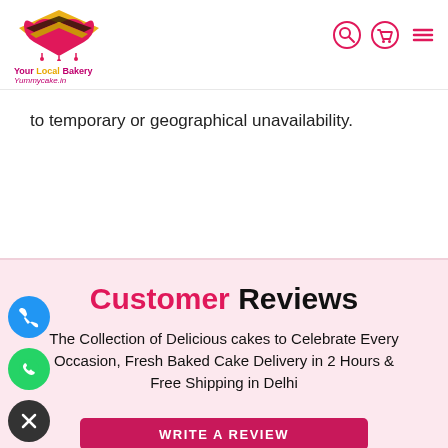[Figure (logo): Your Local Bakery / Yummycake.in heart-shaped logo with pink and gold layers, accompanied by text 'Your Local Bakery' and 'Yummycake.in']
Navigation icons: search, cart, menu (hamburger) in red/pink
to temporary or geographical unavailability.
Customer Reviews
The Collection of Delicious cakes to Celebrate Every Occasion, Fresh Baked Cake Delivery in 2 Hours & Free Shipping in Delhi
WRITE A REVIEW